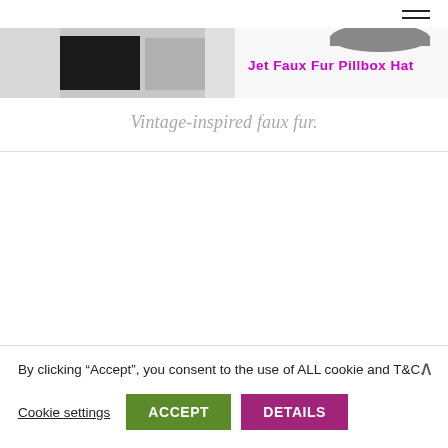[Figure (screenshot): Website navigation hamburger menu icon (three horizontal lines) in top-right corner]
[Figure (photo): Banner image showing a jet faux fur pillbox hat, with grayscale photo on left and text 'Jet Faux Fur Pillbox Hat' in magenta/pink on right]
Vintage-inspired faux fur.
By clicking “Accept”, you consent to the use of ALL cookie and T&C.
Cookie settings
ACCEPT
DETAILS